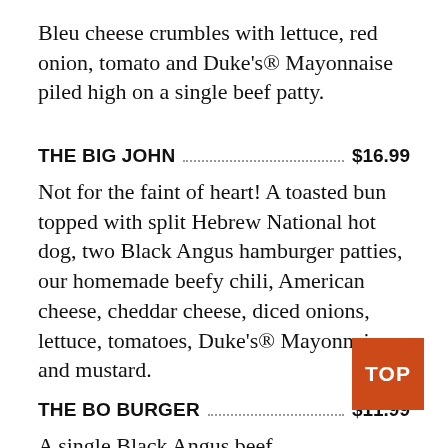Bleu cheese crumbles with lettuce, red onion, tomato and Duke's® Mayonnaise piled high on a single beef patty.
THE BIG JOHN .................................. $16.99
Not for the faint of heart! A toasted bun topped with split Hebrew National hot dog, two Black Angus hamburger patties, our homemade beefy chili, American cheese, cheddar cheese, diced onions, lettuce, tomatoes, Duke's® Mayonnaise and mustard.
THE BO BURGER .................................. $11.99
A single Black Angus beef
[Figure (other): Orange/red square badge with 'TOP' text in white bold uppercase letters]